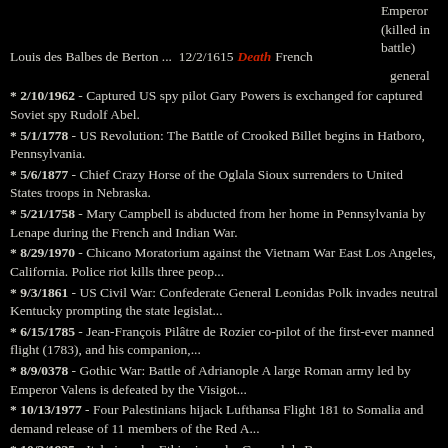Emperor (killed in battle)
Louis des Balbes de Berton ... 12/2/1615 Death French general
* 2/10/1962 - Captured US spy pilot Gary Powers is exchanged for captured Soviet spy Rudolf Abel.
* 5/1/1778 - US Revolution: The Battle of Crooked Billet begins in Hatboro, Pennsylvania.
* 5/6/1877 - Chief Crazy Horse of the Oglala Sioux surrenders to United States troops in Nebraska.
* 5/21/1758 - Mary Campbell is abducted from her home in Pennsylvania by Lenape during the French and Indian War.
* 8/29/1970 - Chicano Moratorium against the Vietnam War East Los Angeles, California. Police riot kills three peop...
* 9/3/1861 - US Civil War: Confederate General Leonidas Polk invades neutral Kentucky prompting the state legislat...
* 6/15/1785 - Jean-François Pilâtre de Rozier co-pilot of the first-ever manned flight (1783), and his companion,...
* 8/9/0378 - Gothic War: Battle of Adrianople A large Roman army led by Emperor Valens is defeated by the Visigot...
* 10/13/1977 - Four Palestinians hijack Lufthansa Flight 181 to Somalia and demand release of 11 members of the Red A...
* 10/3/1935 - Italy invades Ethiopia under General de Bono.
* 5/21/1966 - The Ulster Volunteer Force declare war on the Irish Republican Army in Northern Ireland.
* 11/7/1900 - Battle of Leliefontein a battle during which the Royal Canadian Dragoons win three Victoria Crosses.
* 5/16/1919 - A naval Curtiss aircraft NC-4 commanded by